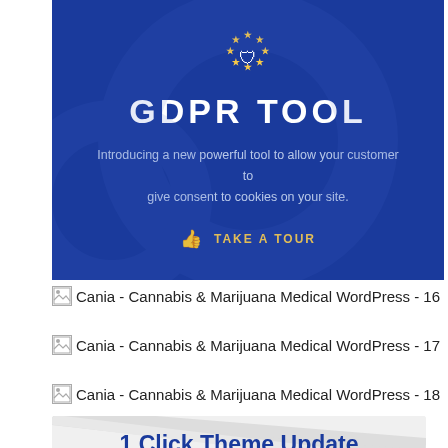[Figure (infographic): GDPR Tool banner with blue background, EU stars icon, title 'GDPR TOOL', subtitle text, and 'TAKE A TOUR' call-to-action in yellow]
Cania - Cannabis & Marijuana Medical WordPress - 16
Cania - Cannabis & Marijuana Medical WordPress - 17
Cania - Cannabis & Marijuana Medical WordPress - 18
[Figure (infographic): Bottom section with light gray background and diagonal stripe decorations, showing partial text '1 Click Theme Update']